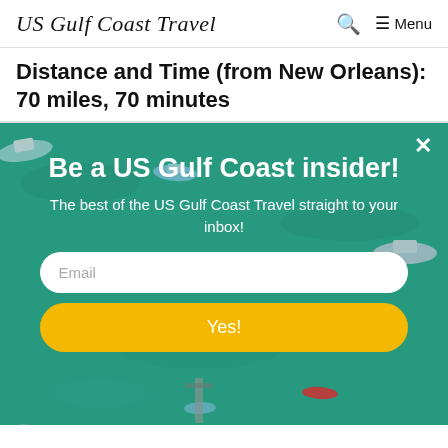US Gulf Coast Travel    🔍    ☰ Menu
Distance and Time (from New Orleans): 70 miles, 70 minutes
[Figure (photo): Aerial view of colorful boats on teal/turquoise water, with a newsletter signup popup overlay. The popup reads: 'Be a US Gulf Coast insider! The best of the US Gulf Coast Travel straight to your inbox!' with an Email input field and a yellow 'Yes!' button. A close (×) button is in the top right.]